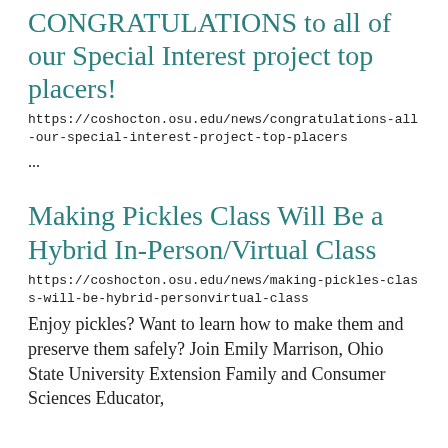CONGRATULATIONS to all of our Special Interest project top placers!
https://coshocton.osu.edu/news/congratulations-all-our-special-interest-project-top-placers
...
Making Pickles Class Will Be a Hybrid In-Person/Virtual Class
https://coshocton.osu.edu/news/making-pickles-class-will-be-hybrid-personvirtual-class
Enjoy pickles? Want to learn how to make them and preserve them safely? Join Emily Marrison, Ohio State University Extension Family and Consumer Sciences Educator,